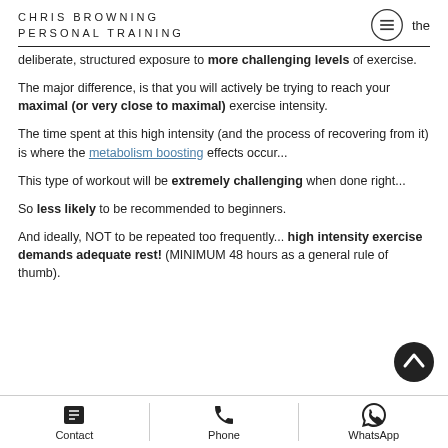CHRIS BROWNING PERSONAL TRAINING
deliberate, structured exposure to more challenging levels of exercise.
The major difference, is that you will actively be trying to reach your maximal (or very close to maximal) exercise intensity.
The time spent at this high intensity (and the process of recovering from it) is where the metabolism boosting effects occur...
This type of workout will be extremely challenging when done right...
So less likely to be recommended to beginners.
And ideally, NOT to be repeated too frequently... high intensity exercise demands adequate rest! (MINIMUM 48 hours as a general rule of thumb).
Contact | Phone | WhatsApp